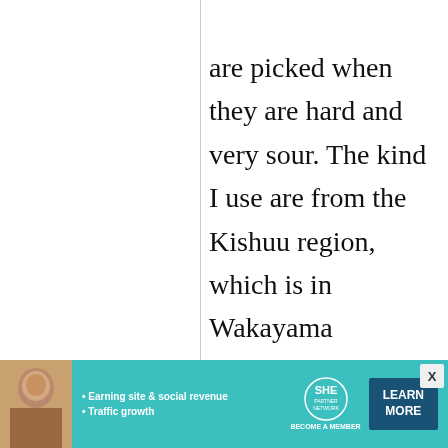are picked when they are hard and very sour. The kind I use are from the Kishuu region, which is in Wakayama prefecture. Kishuu ume are widely regarded to make the best umeboshi.

I understand that
[Figure (infographic): Advertisement banner for SHE Partner Network. Teal/turquoise background with a woman's photo on the left, bullet points 'Earning site & social revenue' and 'Traffic growth', SHE Partner Network logo in center, and a dark blue 'LEARN MORE' button on the right.]